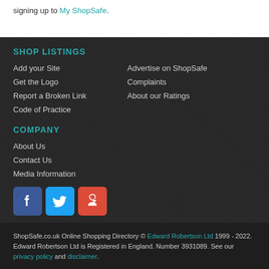signing up to My ShopSafe.
SHOP LISTINGS
Add your Site
Advertise on ShopSafe
Get the Logo
Complaints
Report a Broken Link
About our Ratings
Code of Practice
COMPANY
About Us
Contact Us
Media Information
[Figure (illustration): Social media icons: Facebook, Twitter, Google+]
ShopSafe.co.uk Online Shopping Directory © Edward Robertson Ltd 1999 - 2022. Edward Robertson Ltd is Registered in England. Number 3931089. See our privacy policy and disclaimer.